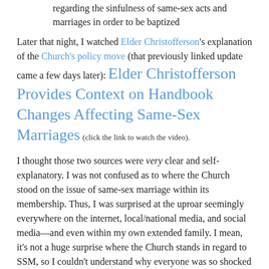regarding the sinfulness of same-sex acts and marriages in order to be baptized
Later that night, I watched Elder Christofferson's explanation of the Church's policy move (that previously linked update came a few days later): Elder Christofferson Provides Context on Handbook Changes Affecting Same-Sex Marriages (click the link to watch the video).
I thought those two sources were very clear and self-explanatory. I was not confused as to where the Church stood on the issue of same-sex marriage within its membership. Thus, I was surprised at the uproar seemingly everywhere on the internet, local/national media, and social media—and even within my own extended family. I mean, it's not a huge surprise where the Church stands in regard to SSM, so I couldn't understand why everyone was so shocked with the policy change—especially after the Church further explained and kindly clarified their position.
My church has been talking about the importance of families